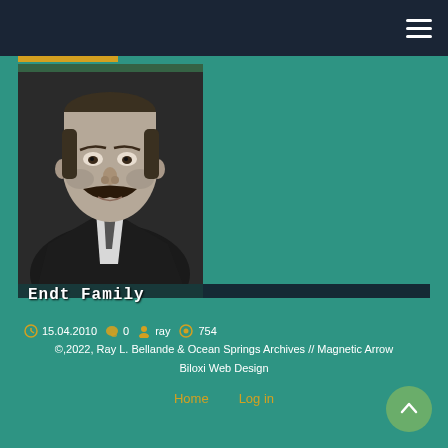[Figure (screenshot): Website screenshot showing a genealogy/archive page with dark navy navigation bar at top with hamburger menu, a grayscale portrait photo of a man with a mustache, a card overlay showing 'Endt Family', date '15.04.2010', comments '0', author 'ray', views '754', and a teal footer with copyright text and navigation links.]
Endt Family
15.04.2010   0   ray   754
©,2022, Ray L. Bellande & Ocean Springs Archives // Magnetic Arrow Biloxi Web Design
Home   Log in